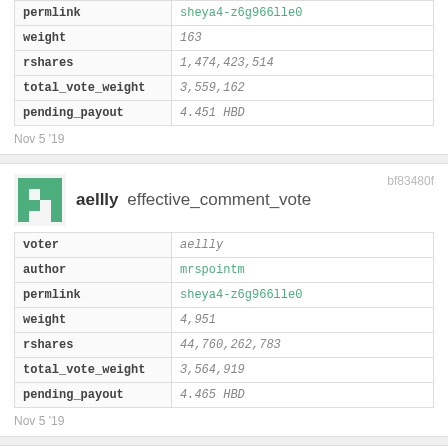| field | value |
| --- | --- |
| permlink | sheya4-z6g966lle0 |
| weight | 163 |
| rshares | 1,474,423,514 |
| total_vote_weight | 3,559,162 |
| pending_payout | 4.451 HBD |
Nov 5 '19
bf83480f
aellly effective_comment_vote
| field | value |
| --- | --- |
| voter | aellly |
| author | mrspointm |
| permlink | sheya4-z6g966lle0 |
| weight | 4,951 |
| rshares | 44,760,262,783 |
| total_vote_weight | 3,564,919 |
| pending_payout | 4.465 HBD |
Nov 5 '19
fad08a7c
ahua effective_comment_vote
| field | value |
| --- | --- |
| voter | ahua |
| author | mrspointm |
| permlink | sheya4-z6g966lle0 |